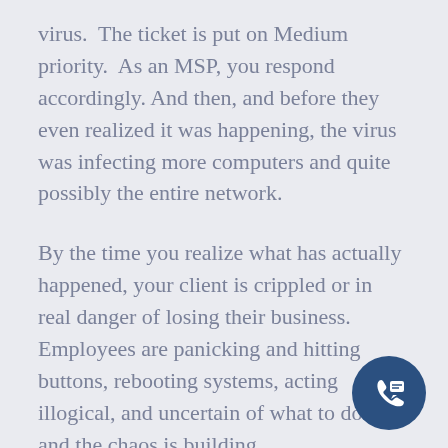virus.  The ticket is put on Medium priority.  As an MSP, you respond accordingly. And then, and before they even realized it was happening, the virus was infecting more computers and quite possibly the entire network.
By the time you realize what has actually happened, your client is crippled or in real danger of losing their business.  Employees are panicking and hitting buttons, rebooting systems, acting illogical, and uncertain of what to do – and the chaos is building.
You told them about cybersecurity.  You mentioned cyber insurance.  You planned to